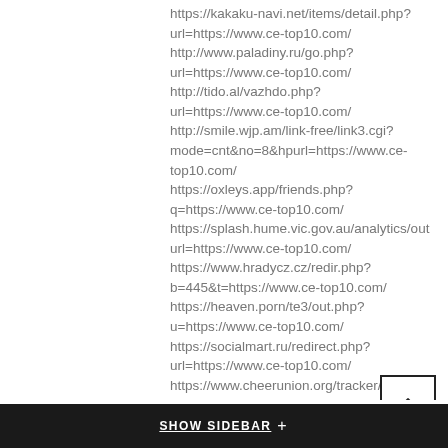https://kakaku-navi.net/items/detail.php?url=https://www.ce-top10.com/
http://www.paladiny.ru/go.php?url=https://www.ce-top10.com/
http://tido.al/vazhdo.php?url=https://www.ce-top10.com/
http://smile.wjp.am/link-free/link3.cgi?mode=cnt&no=8&hpurl=https://www.ce-top10.com/
https://oxleys.app/friends.php?q=https://www.ce-top10.com/
https://splash.hume.vic.gov.au/analytics/outbound?url=https://www.ce-top10.com/
https://www.hradycz.cz/redir.php?b=445&t=https://www.ce-top10.com/
https://heaven.porn/te3/out.php?u=https://www.ce-top10.com/
https://socialmart.ru/redirect.php?url=https://www.ce-top10.com/
https://www.cheerunion.org/tracker/index.ht t=ad&pool_id=2&ad_id=5&url=https://www.ce-
SHOW SIDEBAR +